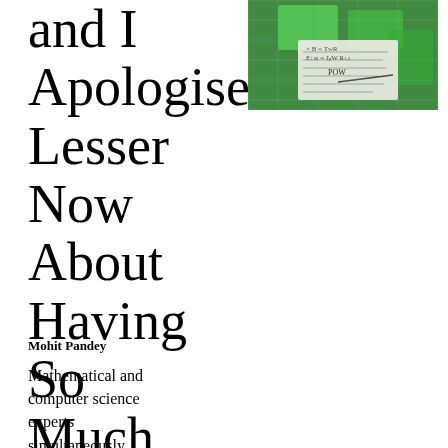and I Apologise Lesser Now About Having So Much Maths
[Figure (photo): Close-up photograph of mathematical equations and formulas written on paper, with a green background, appearing to show algebra and physics notation]
Mohit Pandey
Mathematical and computer science experts simultaneously